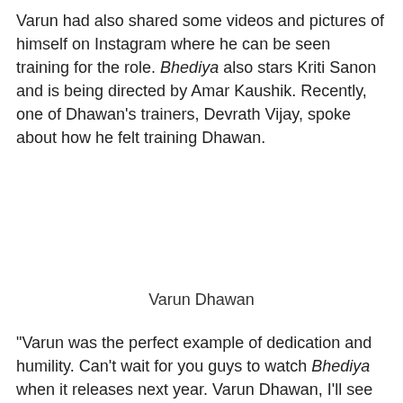Varun had also shared some videos and pictures of himself on Instagram where he can be seen training for the role. Bhediya also stars Kriti Sanon and is being directed by Amar Kaushik. Recently, one of Dhawan's trainers, Devrath Vijay, spoke about how he felt training Dhawan.
Varun Dhawan
"Varun was the perfect example of dedication and humility. Can't wait for you guys to watch Bhediya when it releases next year. Varun Dhawan, I'll see you on the gym floor real soon, brother," he had